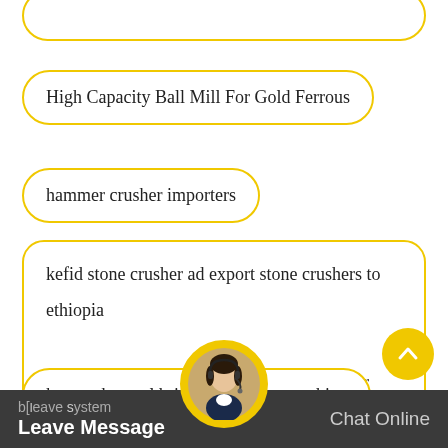High Capacity Ball Mill For Gold Ferrous
hammer crusher importers
kefid stone crusher ad export stone crushers to ethiopia
china great stone crusher equipment for your quarry
mining building & c
kenya charcoal briquette making machine
b[Leave Messagel system   Chat Online